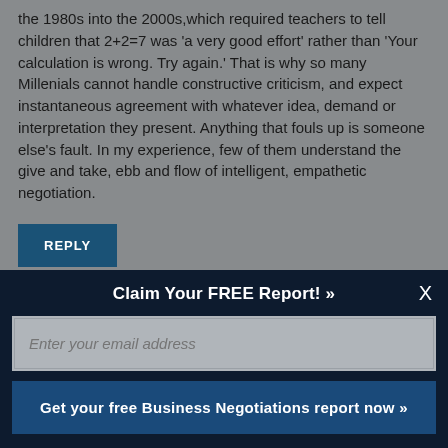the 1980s into the 2000s,which required teachers to tell children that 2+2=7 was 'a very good effort' rather than 'Your calculation is wrong. Try again.' That is why so many Millenials cannot handle constructive criticism, and expect instantaneous agreement with whatever idea, demand or interpretation they present. Anything that fouls up is someone else's fault. In my experience, few of them understand the give and take, ebb and flow of intelligent, empathetic negotiation.
REPLY
JEFF J. APRIL 3, 2017
Claim Your FREE Report! »
Enter your email address
Get your free Business Negotiations report now »